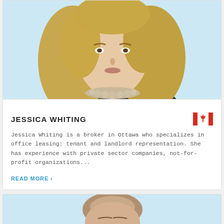[Figure (photo): Professional headshot of Jessica Whiting, a woman with long blonde wavy hair wearing a dark blazer and pearl necklace, light blue background]
JESSICA WHITING
[Figure (illustration): Canadian flag icon — red maple leaf with red bars on each side]
Jessica Whiting is a broker in Ottawa who specializes in office leasing: tenant and landlord representation. She has experience with private sector companies, not-for-profit organizations...
READ MORE >
[Figure (photo): Professional headshot of a man, partially visible, light blue background]